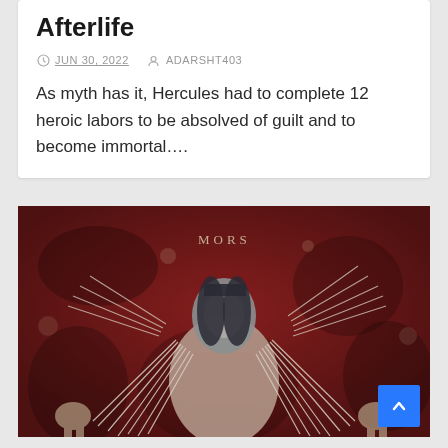Afterlife
JUN 30, 2022   ADARSHT403
As myth has it, Hercules had to complete 12 heroic labors to be absolved of guilt and to become immortal....
[Figure (photo): Ancient medieval fresco depicting a robed figure with long dark hair holding bundles of arrows or spears, surrounded by other figures, on a dark reddish-brown background with text 'MORS' visible at top]